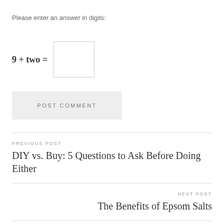Please enter an answer in digits:
[Figure (screenshot): A grey button labeled POST COMMENT]
PREVIOUS POST
DIY vs. Buy: 5 Questions to Ask Before Doing Either
NEXT POST
The Benefits of Epsom Salts